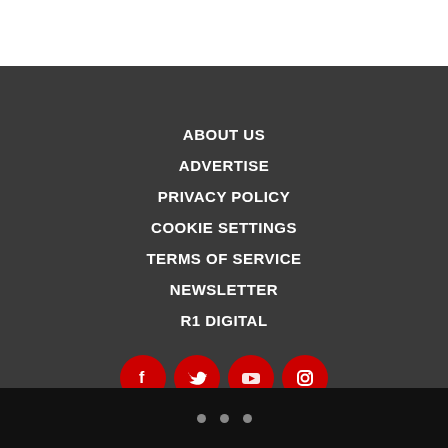ABOUT US
ADVERTISE
PRIVACY POLICY
COOKIE SETTINGS
TERMS OF SERVICE
NEWSLETTER
R1 DIGITAL
[Figure (infographic): Four red circular social media icons: Facebook, Twitter, YouTube, Instagram]
• • •